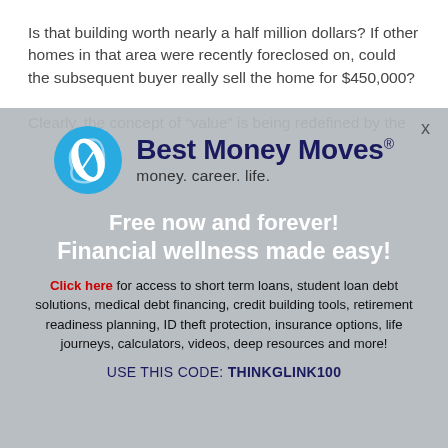Is that building worth nearly a half million dollars? If other homes in that area were recently foreclosed on, could the subsequent buyer really sell the home for $450,000?
Clearly, the concept of “value” is being redefined by the
[Figure (logo): Best Money Moves logo: blue circle with white leaf/swoosh icon, dark navy bold text 'Best Money Moves' with registered trademark symbol, tagline 'money. career. life.' below]
Free now and forever!
Financial wellness made easy!
Click here for access to short term loans, student loan debt solutions, medical debt financing, credit building tools, retirement readiness planning, ID theft protection, insurance options, life journeys, calculators, videos, deep resources and more!
USE THIS CODE: THINKGLINK100